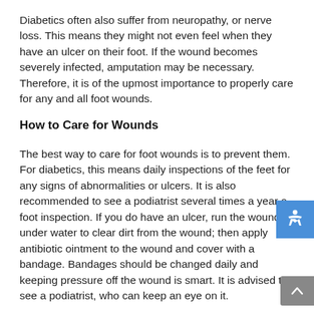Diabetics often also suffer from neuropathy, or nerve loss. This means they might not even feel when they have an ulcer on their foot. If the wound becomes severely infected, amputation may be necessary. Therefore, it is of the upmost importance to properly care for any and all foot wounds.
How to Care for Wounds
The best way to care for foot wounds is to prevent them. For diabetics, this means daily inspections of the feet for any signs of abnormalities or ulcers. It is also recommended to see a podiatrist several times a year a foot inspection. If you do have an ulcer, run the wound under water to clear dirt from the wound; then apply antibiotic ointment to the wound and cover with a bandage. Bandages should be changed daily and keeping pressure off the wound is smart. It is advised to see a podiatrist, who can keep an eye on it.
If you have any questions, please feel free to contact one of our offices located in Sahara Ave and Springs Rd in Las
[Figure (infographic): Blue accessibility icon button on the right side of the page]
[Figure (infographic): Gray scroll-to-top button with upward chevron arrow at the bottom right]